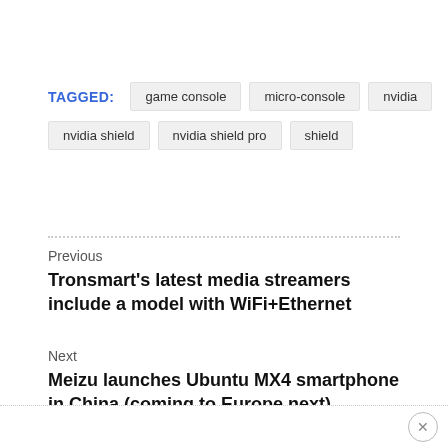TAGGED: game console  micro-console  nvidia  nvidia shield  nvidia shield pro  shield
Previous
Tronsmart's latest media streamers include a model with WiFi+Ethernet
Next
Meizu launches Ubuntu MX4 smartphone in China (coming to Europe next)